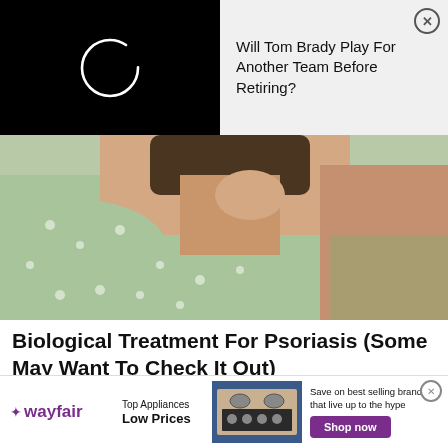Will Tom Brady Play For Another Team Before Retiring?
[Figure (photo): Elderly person in green floral top scratching their neck/back area with both hands]
Biological Treatment For Psoriasis (Some May Want To Check It Out)
Psoriasis | Search Ads | Sponsored
[Figure (infographic): Wayfair advertisement banner: Top Appliances Low Prices with image of kitchen stove and Shop now button]